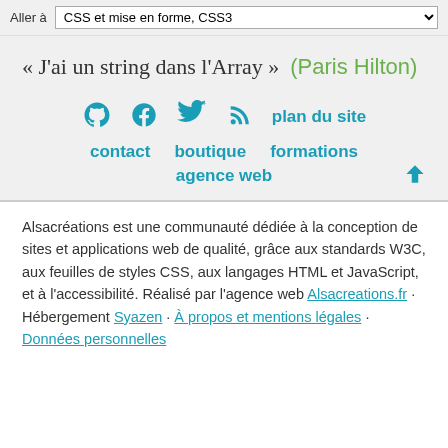Aller à CSS et mise en forme, CSS3
« J'ai un string dans l'Array » (Paris Hilton)
plan du site contact boutique formations agence web
Alsacréations est une communauté dédiée à la conception de sites et applications web de qualité, grâce aux standards W3C, aux feuilles de styles CSS, aux langages HTML et JavaScript, et à l'accessibilité. Réalisé par l'agence web Alsacreations.fr · Hébergement Syazen · À propos et mentions légales · Données personnelles